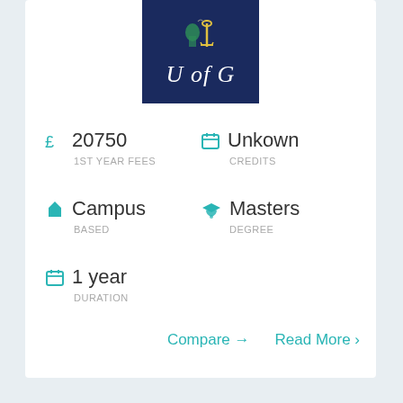[Figure (logo): University of Glasgow (UofG) logo on dark navy blue background with shield/crest]
£  20750
1ST YEAR FEES
Unkown
CREDITS
Campus
BASED
Masters
DEGREE
1 year
DURATION
Compare →
Read More ›